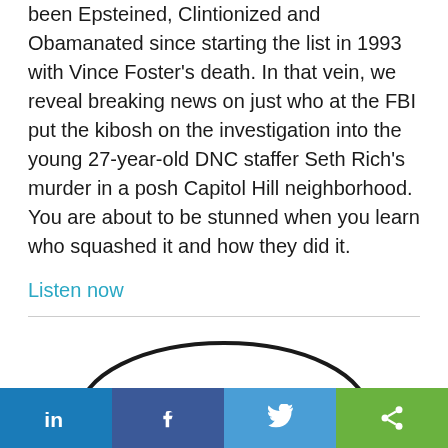been Epsteined, Clintionized and Obamanated since starting the list in 1993 with Vince Foster's death. In that vein, we reveal breaking news on just who at the FBI put the kibosh on the investigation into the young 27-year-old DNC staffer Seth Rich's murder in a posh Capitol Hill neighborhood. You are about to be stunned when you learn who squashed it and how they did it.
Listen now
[Figure (illustration): Cartoon speech bubble with text 'BLAH, BLAH, BLAH BLAH, BLAH...' and partial cartoon character below]
Social share bar: LinkedIn, Facebook, Twitter, Share